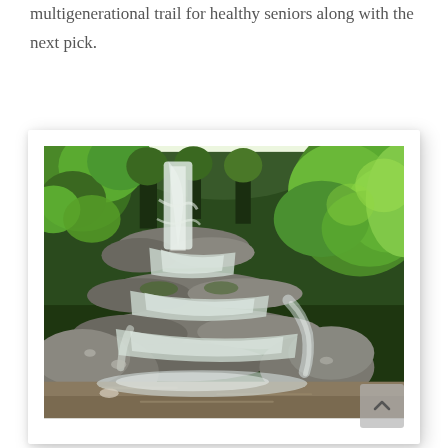multigenerational trail for healthy seniors along with the next pick.
[Figure (photo): A multi-tiered waterfall surrounded by lush green forest and mossy rocks, with a clear pool at the base. Long-exposure photography gives the water a silky white appearance.]